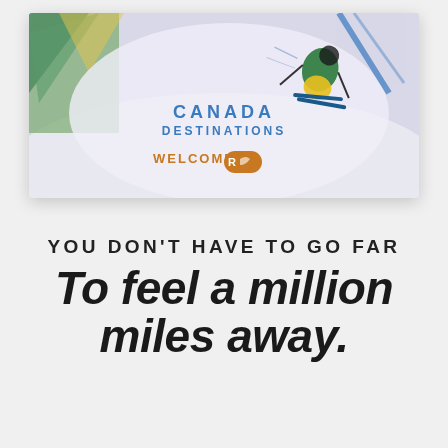[Figure (illustration): A promotional card/screenshot showing a skier in mid-action on a snowy slope. Text on the card reads 'CANADA DESTINATIONS' and 'WELCOME' with a logo. The card has a warm illustrated art style with greens, blues, and yellows.]
YOU DON'T HAVE TO GO FAR
To feel a million miles away.